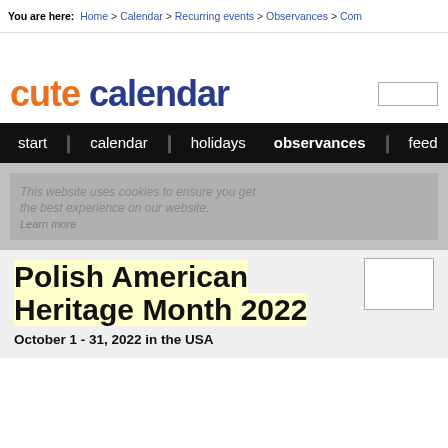You are here: Home > Calendar > Recurring events > Observances > Com
[Figure (logo): Cute Calendar logo: 'cute' in orange bold text and 'calendar' in dark blue bold text, large font]
start | calendar | holidays | observances | feed
This website uses cookies to ensure you get the best experience on our website. Learn more
Polish American Heritage Month 2022
October 1 - 31, 2022 in the USA